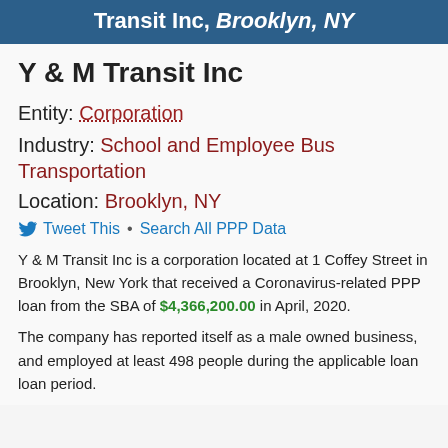Transit Inc, Brooklyn, NY
Y & M Transit Inc
Entity: Corporation
Industry: School and Employee Bus Transportation
Location: Brooklyn, NY
Tweet This • Search All PPP Data
Y & M Transit Inc is a corporation located at 1 Coffey Street in Brooklyn, New York that received a Coronavirus-related PPP loan from the SBA of $4,366,200.00 in April, 2020.
The company has reported itself as a male owned business, and employed at least 498 people during the applicable loan loan period.